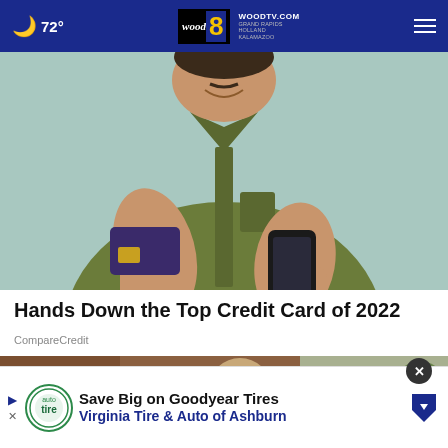🌙 72° | WOODTV.COM WOOD 8 TV | GRAND RAPIDS HOLLAND KALAMAZOO
[Figure (photo): Man smiling holding a dark purple credit card in one hand and a black smartphone in the other, wearing a green/olive button-up shirt, light teal background]
Hands Down the Top Credit Card of 2022
CompareCredit
[Figure (photo): Partial image showing what appears to be a military or outdoor scene, partially obscured by an advertisement overlay]
Save Big on Goodyear Tires Virginia Tire & Auto of Ashburn